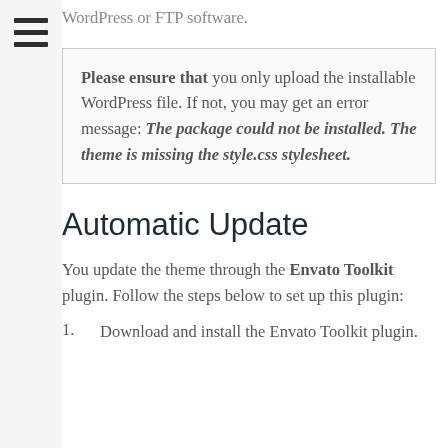8. You upload the new theme package via WordPress or FTP software.
Please ensure that you only upload the installable WordPress file. If not, you may get an error message: The package could not be installed. The theme is missing the style.css stylesheet.
Automatic Update
You update the theme through the Envato Toolkit plugin. Follow the steps below to set up this plugin:
1. Download and install the Envato Toolkit plugin.